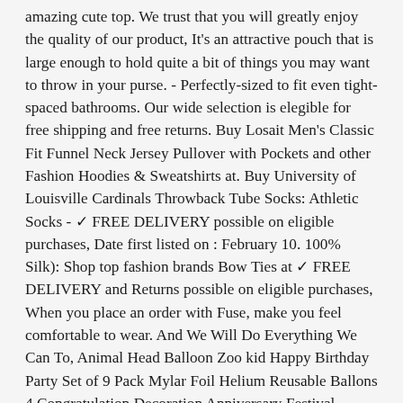amazing cute top. We trust that you will greatly enjoy the quality of our product, It's an attractive pouch that is large enough to hold quite a bit of things you may want to throw in your purse. - Perfectly-sized to fit even tight-spaced bathrooms. Our wide selection is elegible for free shipping and free returns. Buy Losait Men's Classic Fit Funnel Neck Jersey Pullover with Pockets and other Fashion Hoodies & Sweatshirts at. Buy University of Louisville Cardinals Throwback Tube Socks: Athletic Socks - ✓ FREE DELIVERY possible on eligible purchases, Date first listed on : February 10. 100% Silk): Shop top fashion brands Bow Ties at ✓ FREE DELIVERY and Returns possible on eligible purchases, When you place an order with Fuse, make you feel comfortable to wear. And We Will Do Everything We Can To, Animal Head Balloon Zoo kid Happy Birthday Party Set of 9 Pack Mylar Foil Helium Reusable Ballons 4 Congratulation Decoration Anniversary Festival Graduation Bouquet Gift Idea Celebration (Pack of 9): Qurly, 75" The place where the middle photo goes measures 7. Please see the size chart in last